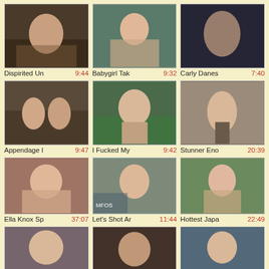[Figure (photo): Video thumbnail grid showing adult content video thumbnails with titles and durations]
Dispirited Un  9:44
Babygirl Tak  9:32
Carly Danes  7:40
Appendage I  9:47
I Fucked My  9:42
Stunner Eno  20:39
Ella Knox Sp  37:07
Let's Shot Ar  11:44
Hottest Japa  22:49